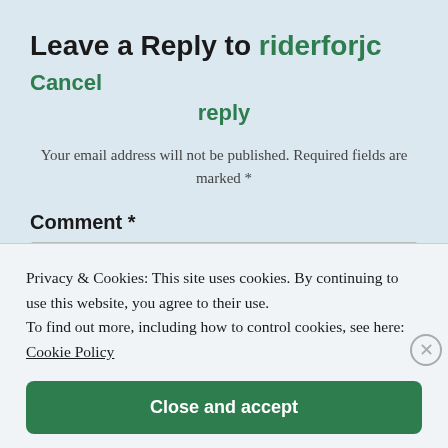Leave a Reply to riderforjc Cancel reply
Your email address will not be published. Required fields are marked *
Comment *
[Figure (screenshot): Comment text input box (white rectangle)]
Privacy & Cookies: This site uses cookies. By continuing to use this website, you agree to their use.
To find out more, including how to control cookies, see here: Cookie Policy
Close and accept